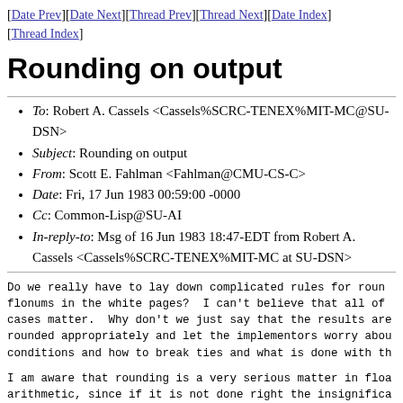[Date Prev][Date Next][Thread Prev][Thread Next][Date Index][Thread Index]
Rounding on output
To: Robert A. Cassels <Cassels%SCRC-TENEX%MIT-MC@SU-DSN>
Subject: Rounding on output
From: Scott E. Fahlman <Fahlman@CMU-CS-C>
Date: Fri, 17 Jun 1983 00:59:00 -0000
Cc: Common-Lisp@SU-AI
In-reply-to: Msg of 16 Jun 1983 18:47-EDT from Robert A. Cassels <Cassels%SCRC-TENEX%MIT-MC at SU-DSN>
Do we really have to lay down complicated rules for rounflonums in the white pages?  I can't believe that all ofcases matter.  Why don't we just say that the results arerounded appropriately and let the implementors worry abouconditions and how to break ties and what is done with th
I am aware that rounding is a very serious matter in floaarithmetic, since if it is not done right the insignifica